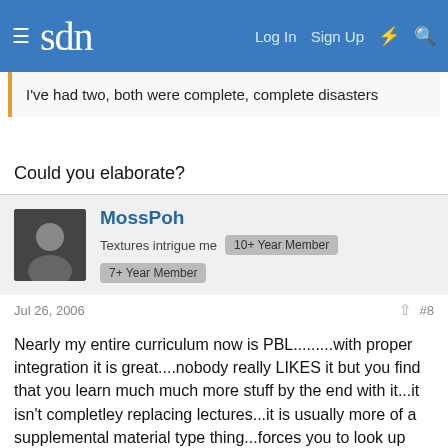sdn — Log In  Sign Up
I've had two, both were complete, complete disasters
Could you elaborate?
MossPoh — Textures intrigue me — 10+ Year Member — 7+ Year Member
Jul 26, 2006  #8
Nearly my entire curriculum now is PBL.........with proper integration it is great....nobody really LIKES it but you find that you learn much much more stuff by the end with it...it isn't completley replacing lectures...it is usually more of a supplemental material type thing...forces you to look up questions on your own, pose questions, use real thinking........and to answer the question..don't have a list.